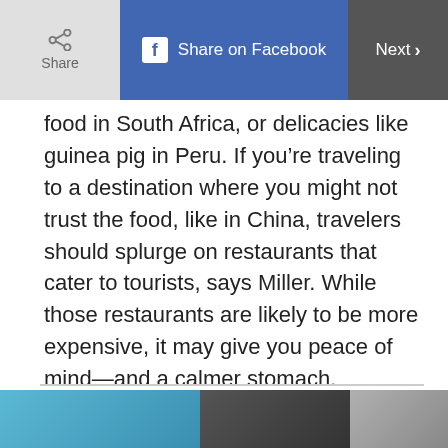Share | Share on Facebook | Next >
food in South Africa, or delicacies like guinea pig in Peru. If you’re traveling to a destination where you might not trust the food, like in China, travelers should splurge on restaurants that cater to tourists, says Miller. While those restaurants are likely to be more expensive, it may give you peace of mind—and a calmer stomach. Travelers should aim for an immersive dining experience, a splurge meal with a great view, and a meal that will be a good talking point when you return from your trip, says Miller.
[Figure (photo): Bottom image strip with blue and dark photo thumbnails]